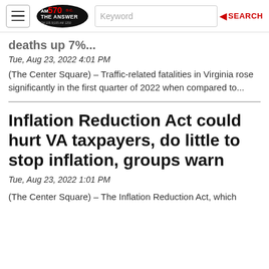AM 570 DC THE ANSWER | Keyword | SEARCH
deaths up 7%...
Tue, Aug 23, 2022 4:01 PM
(The Center Square) – Traffic-related fatalities in Virginia rose significantly in the first quarter of 2022 when compared to...
Inflation Reduction Act could hurt VA taxpayers, do little to stop inflation, groups warn
Tue, Aug 23, 2022 1:01 PM
(The Center Square) – The Inflation Reduction Act, which